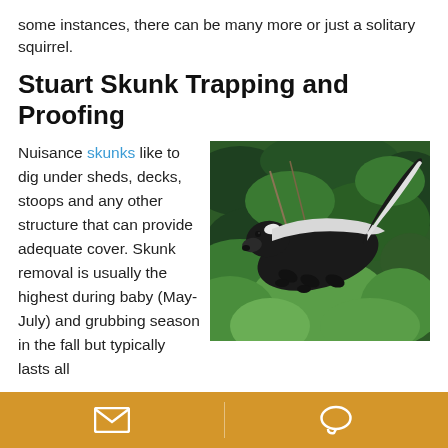some instances, there can be many more or just a solitary squirrel.
Stuart Skunk Trapping and Proofing
[Figure (photo): A black and white skunk walking among green foliage and leaves outdoors.]
Nuisance skunks like to dig under sheds, decks, stoops and any other structure that can provide adequate cover. Skunk removal is usually the highest during baby (May-July) and grubbing season in the fall but typically lasts all
Email icon | Chat icon